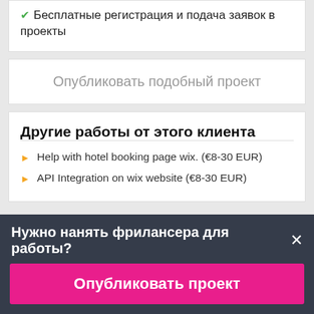Бесплатные регистрация и подача заявок в проекты
Опубликовать подобный проект
Другие работы от этого клиента
Help with hotel booking page wix. (€8-30 EUR)
API Integration on wix website (€8-30 EUR)
Нужно нанять фрилансера для работы?
Опубликовать проект